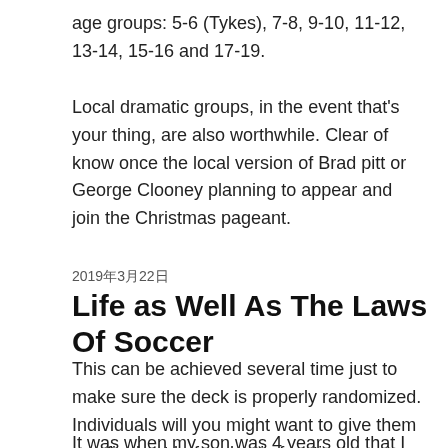age groups: 5-6 (Tykes), 7-8, 9-10, 11-12, 13-14, 15-16 and 17-19.
Local dramatic groups, in the event that's your thing, are also worthwhile. Clear of know once the local version of Brad pitt or George Clooney planning to appear and join the Christmas pageant.
2019年3月22日
Life as Well As The Laws Of Soccer
This can be achieved several time just to make sure the deck is properly randomized. Individuals will you might want to give them one final cut before begin functioning.
It was when my son was 4 years old that I went for you to college to 2 year degree in computer legitimate. Being a